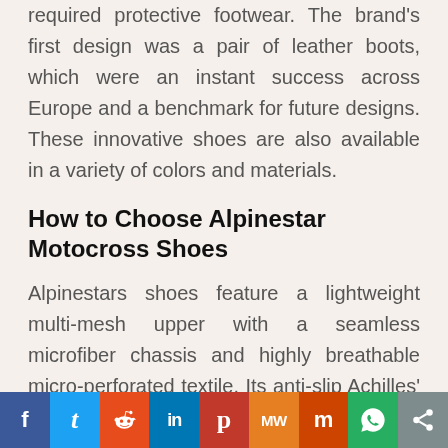required protective footwear. The brand's first design was a pair of leather boots, which were an instant success across Europe and a benchmark for future designs. These innovative shoes are also available in a variety of colors and materials.
How to Choose Alpinestar Motocross Shoes
Alpinestars shoes feature a lightweight multi-mesh upper with a seamless microfiber chassis and highly breathable micro-perforated textile. Its anti-slip Achilles' support collar and vulcanized
Social share bar: Facebook, Twitter, Reddit, LinkedIn, Pinterest, MeWe, Mix, WhatsApp, Share